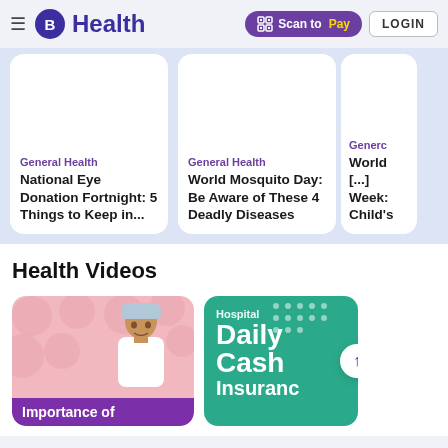B Health | Scan to Pay | LOGIN
General Health
National Eye Donation Fortnight: 5 Things to Keep in...
General Health
World Mosquito Day: Be Aware of These 4 Deadly Diseases
Generc
World [...] Week: Child's
Health Videos
[Figure (photo): Video thumbnail: doctor in surgical cap on pink background with text 'Importance of']
[Figure (photo): Video thumbnail: teal background with text 'Hospital Daily Cash Insuranc']